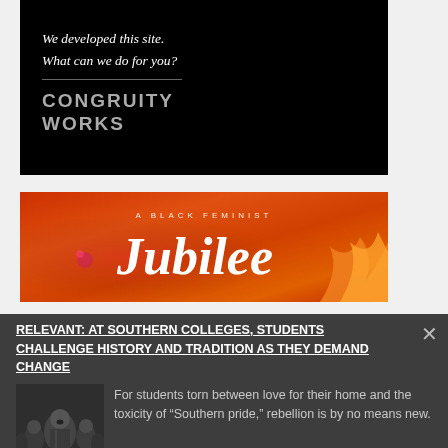[Figure (advertisement): Black background ad banner for Congruity Works with italic text 'We developed this site. What can we do for you?' and company logo below a horizontal divider]
[Figure (advertisement): Orange/red gradient banner for 'A Black Feminist Jubilee' with cursive italic Jubilee title text and flame graphic on right]
RELEVANT: AT SOUTHERN COLLEGES, STUDENTS CHALLENGE HISTORY AND TRADITION AS THEY DEMAND CHANGE
[Figure (photo): Thumbnail photo of a woman speaking at a protest, surrounded by crowd, black and white/dark tones]
For students torn between love for their home and the toxicity of “Southern pride,” rebellion is by no means new.